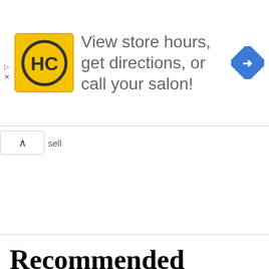[Figure (screenshot): Advertisement banner for a hair salon chain (HC logo) with text 'View store hours, get directions, or call your salon!' and a blue navigation arrow icon on the right. Play and X controls on the left edge.]
sell
Recommended